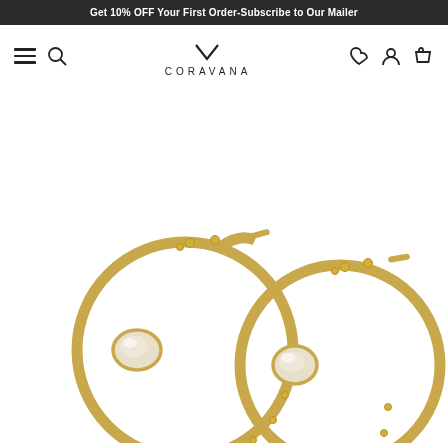Get 10% OFF Your First Order-Subscribe to Our Mailer
[Figure (logo): Coravana brand logo with stylized chevron above text CORAVANA]
[Figure (photo): Two gold hoop earrings with mother of pearl oval cabochon stones and small crystal/diamond accents along the hoop, photographed on white background]